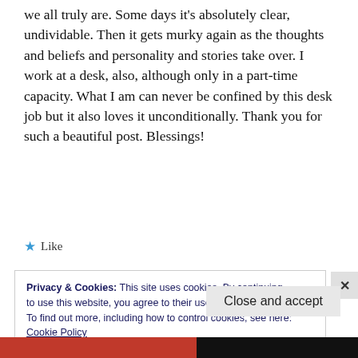we all truly are. Some days it's absolutely clear, undividable. Then it gets murky again as the thoughts and beliefs and personality and stories take over. I work at a desk, also, although only in a part-time capacity. What I am can never be confined by this desk job but it also loves it unconditionally. Thank you for such a beautiful post. Blessings!
★ Like
Privacy & Cookies: This site uses cookies. By continuing to use this website, you agree to their use.
To find out more, including how to control cookies, see here:
Cookie Policy
Close and accept